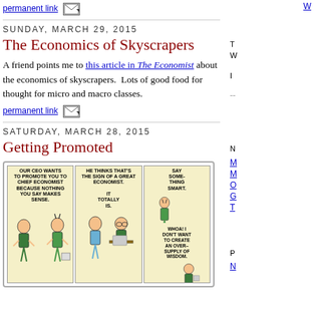permanent link [email icon]
SUNDAY, MARCH 29, 2015
The Economics of Skyscrapers
A friend points me to this article in The Economist about the economics of skyscrapers.  Lots of good food for thought for micro and macro classes.
permanent link [email icon]
SATURDAY, MARCH 28, 2015
Getting Promoted
[Figure (illustration): Dilbert comic strip with three panels. Panel 1: Boss tells Dilbert 'OUR CEO WANTS TO PROMOTE YOU TO CHIEF ECONOMIST BECAUSE NOTHING YOU SAY MAKES SENSE.' Panel 2: Another character says 'HE THINKS THAT'S THE SIGN OF A GREAT ECONOMIST. IT TOTALLY IS.' Panel 3: Dilbert responds 'SAY SOME- THING SMART.' and another says 'WHOA! I DON'T WANT TO CREATE AN OVER- SUPPLY OF WISDOM.']